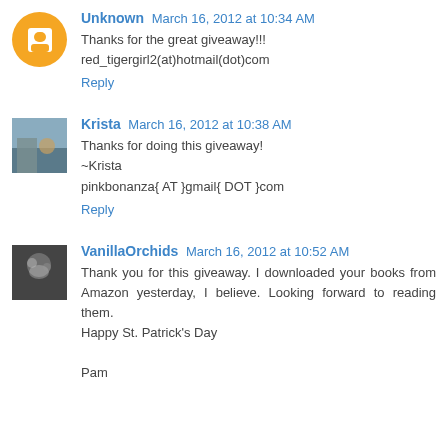Unknown March 16, 2012 at 10:34 AM
Thanks for the great giveaway!!!
red_tigergirl2(at)hotmail(dot)com
Reply
Krista March 16, 2012 at 10:38 AM
Thanks for doing this giveaway!
~Krista
pinkbonanza{ AT }gmail{ DOT }com
Reply
VanillaOrchids March 16, 2012 at 10:52 AM
Thank you for this giveaway. I downloaded your books from Amazon yesterday, I believe. Looking forward to reading them.
Happy St. Patrick's Day

Pam